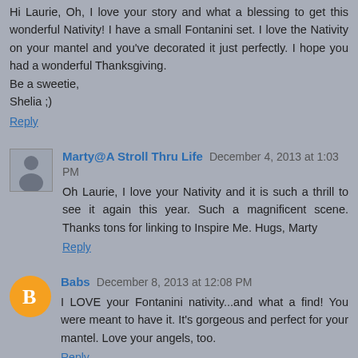Hi Laurie, Oh, I love your story and what a blessing to get this wonderful Nativity! I have a small Fontanini set. I love the Nativity on your mantel and you've decorated it just perfectly. I hope you had a wonderful Thanksgiving.
Be a sweetie,
Shelia ;)
Reply
Marty@A Stroll Thru Life  December 4, 2013 at 1:03 PM
Oh Laurie, I love your Nativity and it is such a thrill to see it again this year. Such a magnificent scene. Thanks tons for linking to Inspire Me. Hugs, Marty
Reply
Babs  December 8, 2013 at 12:08 PM
I LOVE your Fontanini nativity...and what a find! You were meant to have it. It's gorgeous and perfect for your mantel. Love your angels, too.
Reply